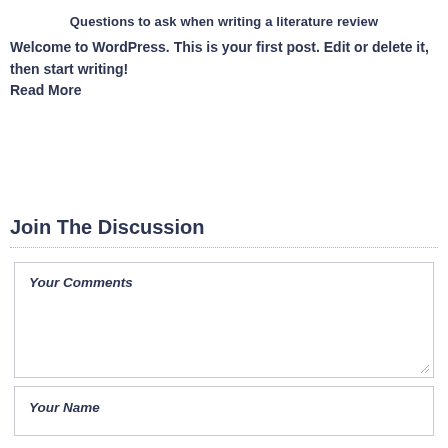Questions to ask when writing a literature review
Welcome to WordPress. This is your first post. Edit or delete it, then start writing!
Read More
Join The Discussion
Your Comments
Your Name